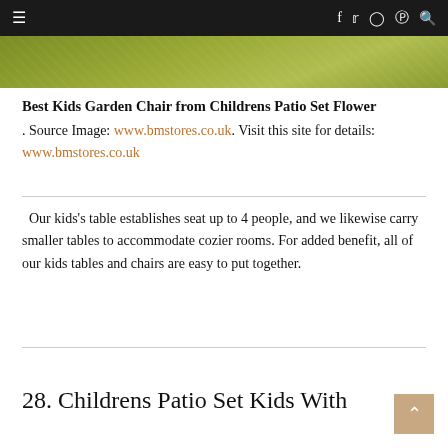≡  f  𝕥  ◯  𝗽  🔍
[Figure (photo): Top portion of a nature/grass image showing olive-green grass or ground cover texture]
Best Kids Garden Chair from Childrens Patio Set Flower. Source Image: www.bmstores.co.uk. Visit this site for details: www.bmstores.co.uk
Our kids's table establishes seat up to 4 people, and we likewise carry smaller tables to accommodate cozier rooms. For added benefit, all of our kids tables and chairs are easy to put together.
28. Childrens Patio Set Kids With